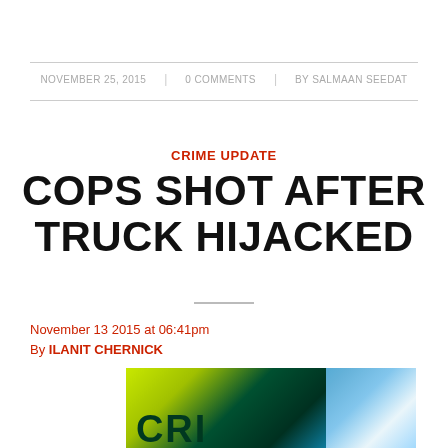NOVEMBER 25, 2015 | 0 COMMENTS | BY SALMAAN SEEDAT
CRIME UPDATE
COPS SHOT AFTER TRUCK HIJACKED
November 13 2015 at 06:41pm
By ILANIT CHERNICK
[Figure (photo): Yellow crime scene tape with 'CRI...' text visible, blue police lights in background]